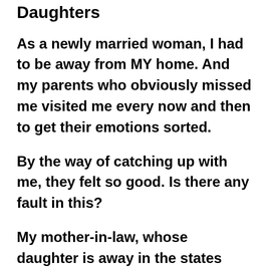Daughters
As a newly married woman, I had to be away from MY home. And my parents who obviously missed me visited me every now and then to get their emotions sorted.
By the way of catching up with me, they felt so good. Is there any fault in this?
My mother-in-law, whose daughter is away in the states once pointed out, “Your father can never stay without seeing you. Do you think that we do not